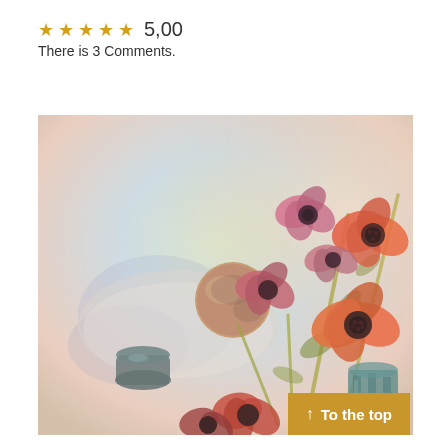★★★★★ 5,00
There is 3 Comments.
[Figure (illustration): Watercolor painting of red and pink anemone flowers with a round fruit on a plate and a vase, soft pastel background]
↑ To the top